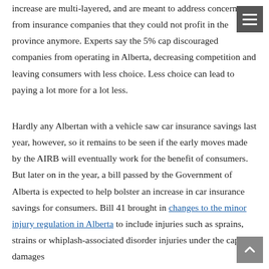increase are multi-layered, and are meant to address concerns from insurance companies that they could not profit in the province anymore. Experts say the 5% cap discouraged companies from operating in Alberta, decreasing competition and leaving consumers with less choice. Less choice can lead to paying a lot more for a lot less.
Hardly any Albertan with a vehicle saw car insurance savings last year, however, so it remains to be seen if the early moves made by the AIRB will eventually work for the benefit of consumers. But later on in the year, a bill passed by the Government of Alberta is expected to help bolster an increase in car insurance savings for consumers. Bill 41 brought in changes to the minor injury regulation in Alberta to include injuries such as sprains, strains or whiplash-associated disorder injuries under the cap for damages